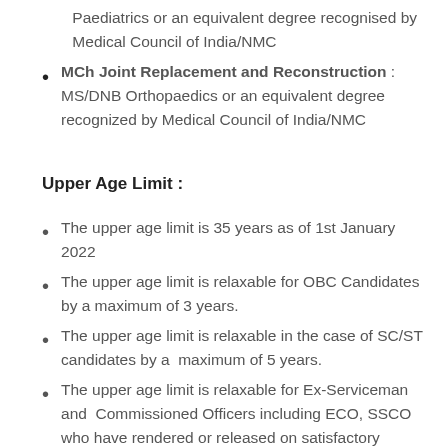Paediatrics or an equivalent degree recognised by Medical Council of India/NMC
MCh Joint Replacement and Reconstruction : MS/DNB Orthopaedics or an equivalent degree recognized by Medical Council of India/NMC
Upper Age Limit :
The upper age limit is 35 years as of 1st January 2022
The upper age limit is relaxable for OBC Candidates by a maximum of 3 years.
The upper age limit is relaxable in the case of SC/ST candidates by a  maximum of 5 years.
The upper age limit is relaxable for Ex-Serviceman and  Commissioned Officers including ECO, SSCO who have rendered or released on satisfactory